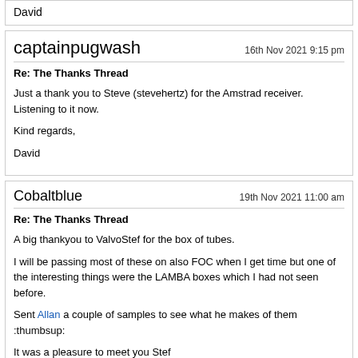David
captainpugwash
16th Nov 2021 9:15 pm
Re: The Thanks Thread
Just a thank you to Steve (stevehertz) for the Amstrad receiver. Listening to it now.

Kind regards,

David
Cobaltblue
19th Nov 2021 11:00 am
Re: The Thanks Thread
A big thankyou to ValvoStef for the box of tubes.

I will be passing most of these on also FOC when I get time but one of the interesting things were the LAMBA boxes which I had not seen before.

Sent Allan a couple of samples to see what he makes of them :thumbsup:

It was a pleasure to meet you Stef